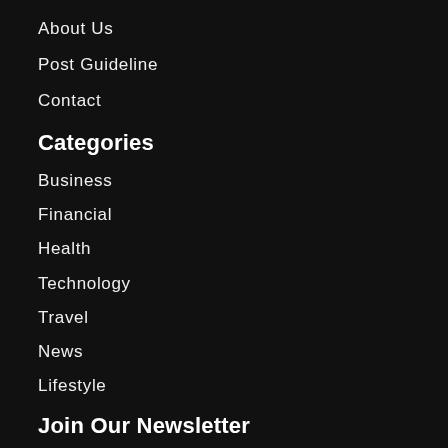About Us
Post Guideline
Contact
Categories
Business
Financial
Health
Technology
Travel
News
Lifestyle
Join Our Newsletter
Enter your email